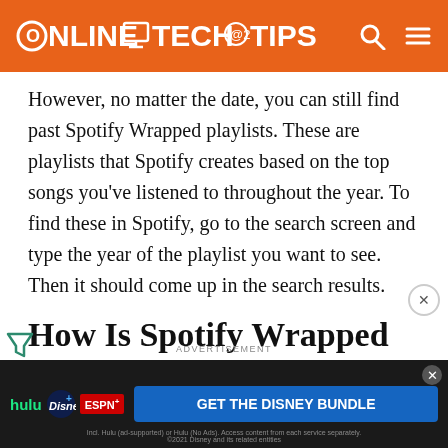ONLINE TECH TIPS
However, no matter the date, you can still find past Spotify Wrapped playlists. These are playlists that Spotify creates based on the top songs you've listened to throughout the year. To find these in Spotify, go to the search screen and type the year of the playlist you want to see. Then it should come up in the search results.
How Is Spotify Wrapped Created?
Spotify tracks your listening habits from January 1st through October 31st to create your Wrapped content for each year. This includes songs, albums, artists, and genres
[Figure (other): Advertisement banner for Disney Bundle featuring Hulu, Disney+, and ESPN+ logos with a blue CTA button reading GET THE DISNEY BUNDLE]